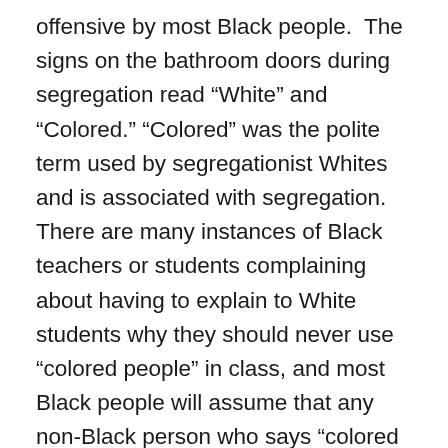offensive by most Black people. The signs on the bathroom doors during segregation read “White” and “Colored.” “Colored” was the polite term used by segregationist Whites and is associated with segregation. There are many instances of Black teachers or students complaining about having to explain to White students why they should never use “colored people” in class, and most Black people will assume that any non-Black person who says “colored people” (or “colored lady” or “colored man” etc.) is at best very ignorant and probably racist. The last time I personally heard someone use “colored lady” was in the 1980s when a young White woman, who found out that I was a sociology professor, said: “I started a sociology class once, but first they deported by instructor and then they brought this colored lady in to teach the class, so I just left.” That